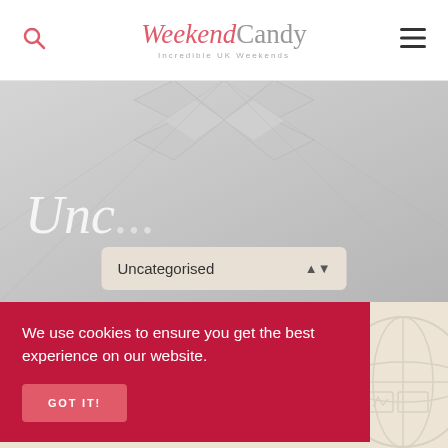WeekendCandy — Incredible UK Weekends
[Figure (screenshot): Hero banner with large italic 'Unc...' text over grey gradient background with bowtie decorative element and diagonal line patterns]
Uncategorised (dropdown selector)
We use cookies to ensure you get the best experience on our website.
GOT IT!